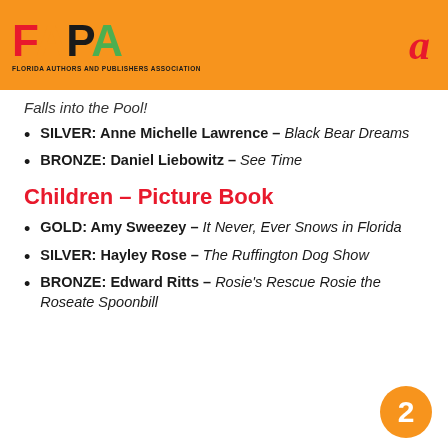FAPA – Florida Authors and Publishers Association
Falls into the Pool!
SILVER: Anne Michelle Lawrence – Black Bear Dreams
BRONZE: Daniel Liebowitz – See Time
Children – Picture Book
GOLD: Amy Sweezey – It Never, Ever Snows in Florida
SILVER: Hayley Rose – The Ruffington Dog Show
BRONZE: Edward Ritts – Rosie's Rescue Rosie the Roseate Spoonbill